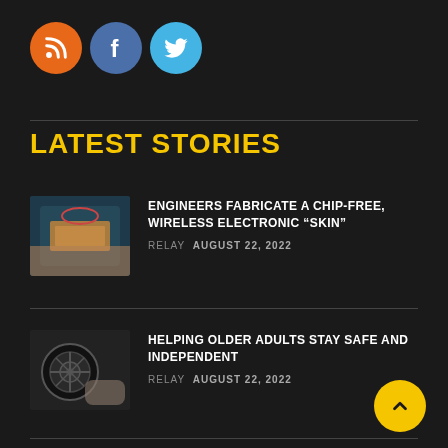[Figure (logo): Three social media icon circles: RSS (orange), Facebook (blue-grey), Twitter (light blue)]
LATEST STORIES
[Figure (photo): Photo of a chip-free wireless electronic skin device on a hand]
ENGINEERS FABRICATE A CHIP-FREE, WIRELESS ELECTRONIC “SKIN”
RELAY AUGUST 22, 2022
[Figure (photo): Photo of a robotic wheel/motor device for helping older adults]
HELPING OLDER ADULTS STAY SAFE AND INDEPENDENT
RELAY AUGUST 22, 2022